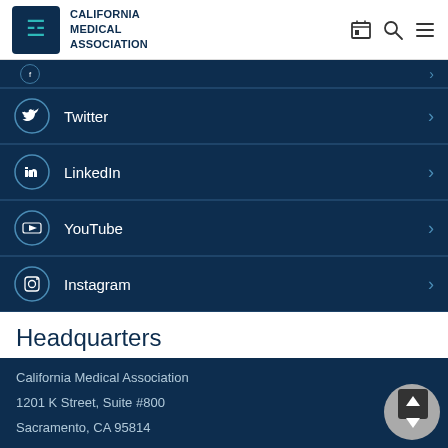California Medical Association
Twitter
LinkedIn
YouTube
Instagram
Headquarters
California Medical Association
1201 K Street, Suite #800
Sacramento, CA 95814